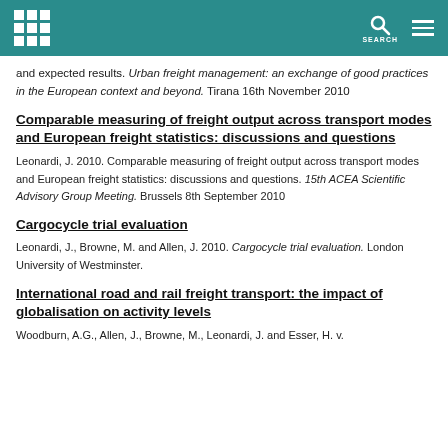University of Westminster header with logo and search
and expected results. Urban freight management: an exchange of good practices in the European context and beyond. Tirana 16th November 2010
Comparable measuring of freight output across transport modes and European freight statistics: discussions and questions
Leonardi, J. 2010. Comparable measuring of freight output across transport modes and European freight statistics: discussions and questions. 15th ACEA Scientific Advisory Group Meeting. Brussels 8th September 2010
Cargocycle trial evaluation
Leonardi, J., Browne, M. and Allen, J. 2010. Cargocycle trial evaluation. London University of Westminster.
International road and rail freight transport: the impact of globalisation on activity levels
Woodburn, A.G., Allen, J., Browne, M., Leonardi, J. and Esser, H. v.